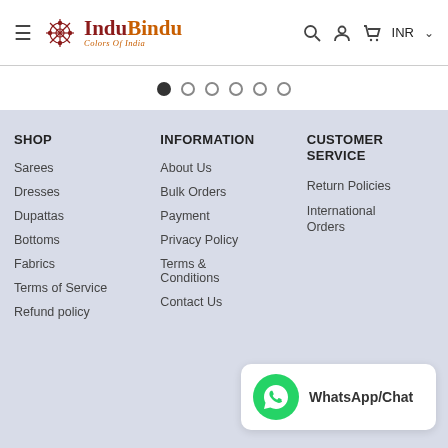InduBindu - Colors Of India | INR
[Figure (other): Carousel pagination dots, 6 dots, first filled]
SHOP
Sarees
Dresses
Dupattas
Bottoms
Fabrics
Terms of Service
Refund policy
INFORMATION
About Us
Bulk Orders
Payment
Privacy Policy
Terms & Conditions
Contact Us
CUSTOMER SERVICE
Return Policies
International Orders
[Figure (logo): WhatsApp/Chat button with green WhatsApp icon]